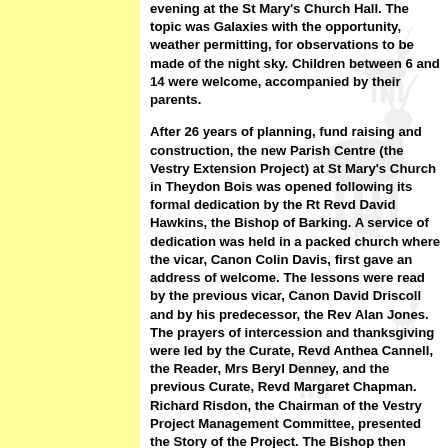evening at the St Mary's Church Hall. The topic was Galaxies with the opportunity, weather permitting, for observations to be made of the night sky. Children between 6 and 14 were welcome, accompanied by their parents.
After 26 years of planning, fund raising and construction, the new Parish Centre (the Vestry Extension Project) at St Mary's Church in Theydon Bois was opened following its formal dedication by the Rt Revd David Hawkins, the Bishop of Barking. A service of dedication was held in a packed church where the vicar, Canon Colin Davis, first gave an address of welcome. The lessons were read by the previous vicar, Canon David Driscoll and by his predecessor, the Rev Alan Jones. The prayers of intercession and thanksgiving were led by the Curate, Revd Anthea Cannell, the Reader, Mrs Beryl Denney, and the previous Curate, Revd Margaret Chapman. Richard Risdon, the Chairman of the Vestry Project Management Committee, presented the Story of the Project. The Bishop then knocked on the door of the new Centre with his pastoral staff, the door was opened and the Act of Dedication then